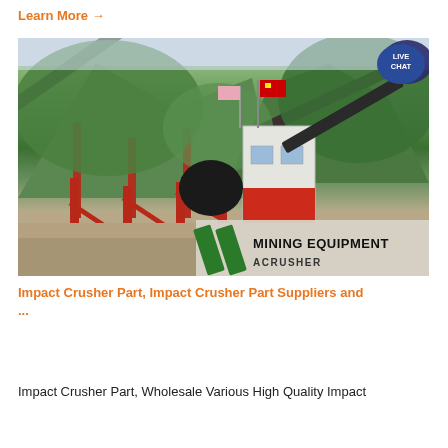Learn More →
[Figure (photo): Mining equipment facility with conveyor belts, crusher, tower with red frame structure, mountains in background. Overlay text reads 'MINING EQUIPMENT ACRUSHER' with green stripes logo. Live chat bubble in corner.]
Impact Crusher Part, Impact Crusher Part Suppliers and ...
Impact Crusher Part, Wholesale Various High Quality Impact